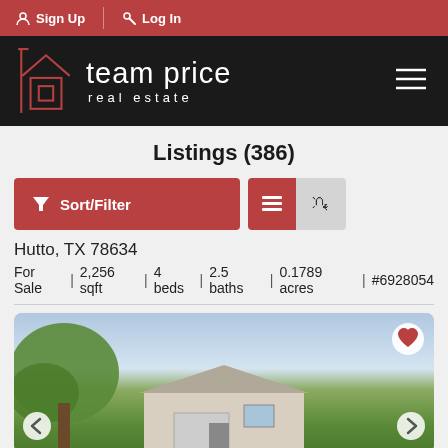Sign Up | Log In
[Figure (logo): Team Price Real Estate logo with house icon on black background]
Listings (386)
[Figure (screenshot): Sort/Filter button (red) and list/map view toggle buttons]
Hutto, TX 78634
For Sale | 2,256 sqft | 4 beds | 2.5 baths | 0.1789 acres | #6928054
[Figure (photo): Exterior photo of a two-story residential home with large trees in foreground]